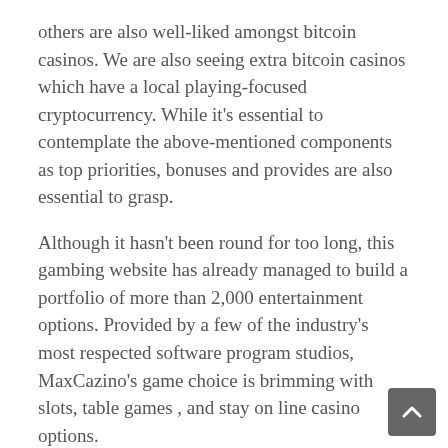others are also well-liked amongst bitcoin casinos. We are also seeing extra bitcoin casinos which have a local playing-focused cryptocurrency. While it's essential to contemplate the above-mentioned components as top priorities, bonuses and provides are also essential to grasp.
Although it hasn't been round for too long, this gambing website has already managed to build a portfolio of more than 2,000 entertainment options. Provided by a few of the industry's most respected software program studios, MaxCazino's game choice is brimming with slots, table games , and stay on line casino options.
While catching Bitcoin on the upswing may simply double your on line casino winnings, the alternative can also be true and a real chance. The bottom line is that all casinos aren't equal; some have more